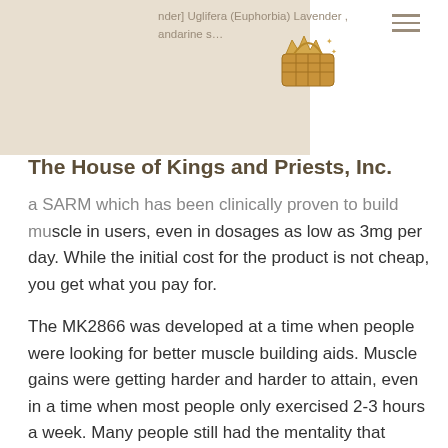nder] Uglifera (Euphorbia) Lavender , andarine s…
The House of Kings and Priests, Inc.
…a SARM which has been clinically proven to build muscle in users, even in dosages as low as 3mg per day. While the initial cost for the product is not cheap, you get what you pay for.

The MK2866 was developed at a time when people were looking for better muscle building aids. Muscle gains were getting harder and harder to attain, even in a time when most people only exercised 2-3 hours a week. Many people still had the mentality that muscle mass was not dependent on the size of the muscle – all you needed to accomplish muscle mass was the size, and no amount of muscle building would work on that. There was no need to look at it that way, unless you were going to be cutting